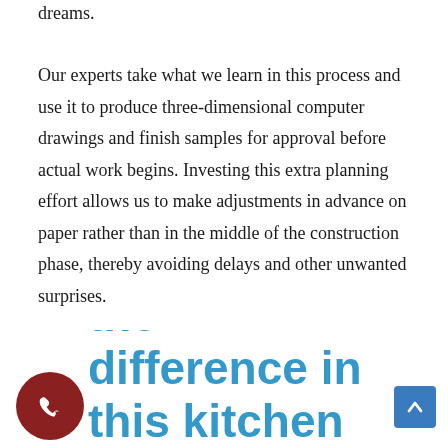dreams.
Our experts take what we learn in this process and use it to produce three-dimensional computer drawings and finish samples for approval before actual work begins. Investing this extra planning effort allows us to make adjustments in advance on paper rather than in the middle of the construction phase, thereby avoiding delays and other unwanted surprises.
aterials make the difference in this kitchen